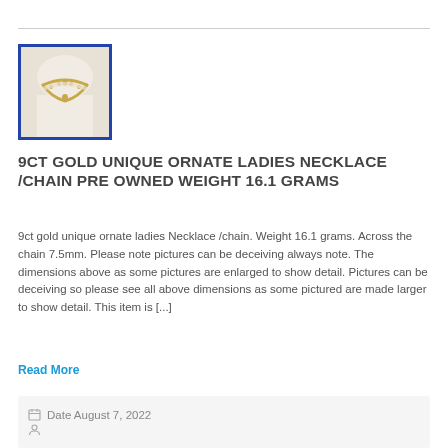[Figure (photo): Photo of a 9ct gold ornate ladies necklace/chain on a white display bust, surrounded by a blue border]
9CT GOLD UNIQUE ORNATE LADIES NECKLACE /CHAIN PRE OWNED WEIGHT 16.1 GRAMS
9ct gold unique ornate ladies Necklace /chain. Weight 16.1 grams. Across the chain 7.5mm. Please note pictures can be deceiving always note. The dimensions above as some pictures are enlarged to show detail. Pictures can be deceiving so please see all above dimensions as some pictured are made larger to show detail. This item is [...]
Read More
Date August 7, 2022